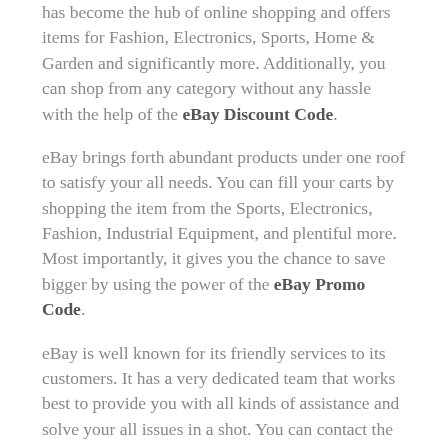has become the hub of online shopping and offers items for Fashion, Electronics, Sports, Home & Garden and significantly more. Additionally, you can shop from any category without any hassle with the help of the eBay Discount Code.
eBay brings forth abundant products under one roof to satisfy your all needs. You can fill your carts by shopping the item from the Sports, Electronics, Fashion, Industrial Equipment, and plentiful more. Most importantly, it gives you the chance to save bigger by using the power of the eBay Promo Code.
eBay is well known for its friendly services to its customers. It has a very dedicated team that works best to provide you with all kinds of assistance and solve your all issues in a shot. You can contact the customer service